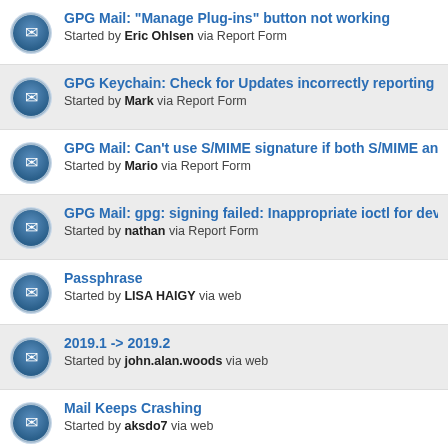GPG Mail: "Manage Plug-ins" button not working
Started by Eric Ohlsen via Report Form
GPG Keychain: Check for Updates incorrectly reporting 2019.1 as version.
Started by Mark via Report Form
GPG Mail: Can't use S/MIME signature if both S/MIME and GPG a...
Started by Mario via Report Form
GPG Mail: gpg: signing failed: Inappropriate ioctl for device
Started by nathan via Report Form
Passphrase
Started by LISA HAIGY via web
2019.1 -> 2019.2
Started by john.alan.woods via web
Mail Keeps Crashing
Started by aksdo7 via web